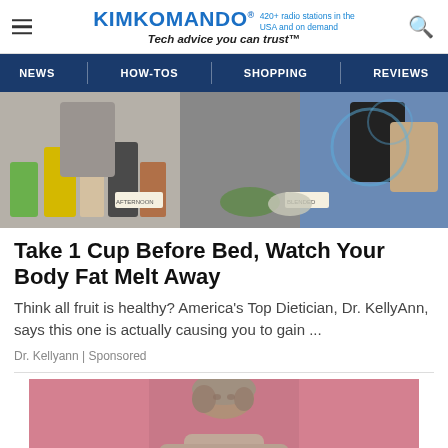KIMKOMANDO® 420+ radio stations in the USA and on demand Tech advice you can trust™
[Figure (screenshot): Navigation menu with NEWS, HOW-TOS, SHOPPING, REVIEWS on dark navy background]
[Figure (photo): TV show screenshot with people standing behind a table with smoothies, fruits, and blenders]
Take 1 Cup Before Bed, Watch Your Body Fat Melt Away
Think all fruit is healthy? America's Top Dietician, Dr. KellyAnn, says this one is actually causing you to gain ...
Dr. Kellyann | Sponsored
[Figure (photo): Woman with gray and brown hair photographed against a pink background, visible from the shoulders up]